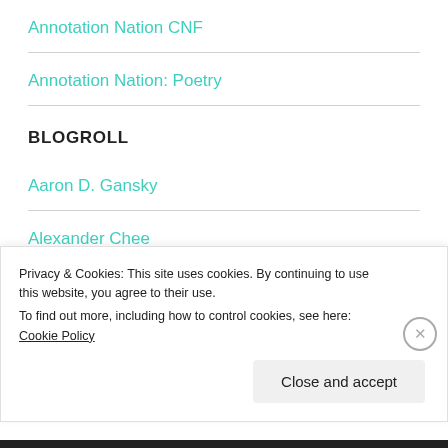Annotation Nation CNF
Annotation Nation: Poetry
BLOGROLL
Aaron D. Gansky
Alexander Chee
Alistair McCartney
Privacy & Cookies: This site uses cookies. By continuing to use this website, you agree to their use.
To find out more, including how to control cookies, see here: Cookie Policy
Close and accept